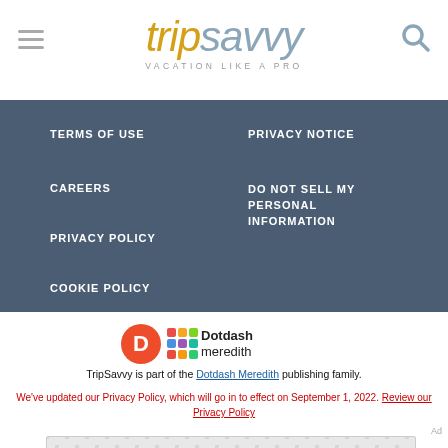[Figure (logo): TripSavvy logo with hamburger menu icon on left and search icon on right. Logo reads 'trip' in gold italic and 'savvy' in steel blue italic. Tagline: VACATION LIKE A PRO]
TERMS OF USE
CAREERS
PRIVACY POLICY
COOKIE POLICY
PRIVACY NOTICE
DO NOT SELL MY PERSONAL INFORMATION
[Figure (logo): Dotdash Meredith logo: orange circle with D, colorful geometric icon, and text 'Dotdash meredith']
TripSavvy is part of the Dotdash Meredith publishing family.
We've updated our Privacy Policy, which will go in to effect on September 1, 2022. Review our Privacy Policy
[Figure (other): Advertisement placeholder with dotted pattern background]